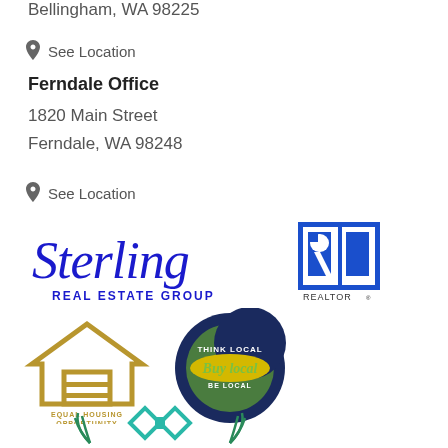Bellingham, WA 98225
See Location
Ferndale Office
1820 Main Street
Ferndale, WA 98248
See Location
[Figure (logo): Sterling Real Estate Group logo in blue script with REAL ESTATE GROUP in blue block letters]
[Figure (logo): REALTOR logo - blue square with white R symbol]
[Figure (logo): Equal Housing Opportunity logo - gold house with equal sign]
[Figure (logo): Think Local Buy Local Be Local circular badge logo]
[Figure (logo): Infinity/diamond logo in teal color, partially visible at bottom]